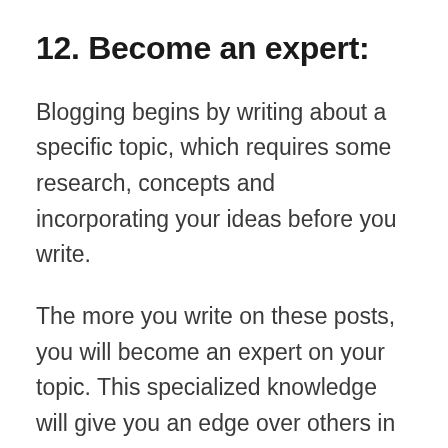12. Become an expert:
Blogging begins by writing about a specific topic, which requires some research, concepts and incorporating your ideas before you write.
The more you write on these posts, you will become an expert on your topic. This specialized knowledge will give you an edge over others in that field of expertise.